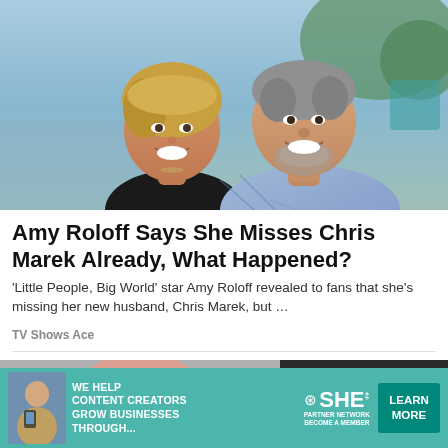[Figure (photo): A smiling woman with short blonde hair leaning against a man with gray stubble beard wearing a blue plaid shirt, outdoor setting near water]
Amy Roloff Says She Misses Chris Marek Already, What Happened?
'Little People, Big World' star Amy Roloff revealed to fans that she's missing her new husband, Chris Marek, but …
TV Shows Ace
[Figure (photo): Partial view of a woman in a pink top, second article image, partially cropped]
[Figure (infographic): Teal advertisement banner: WE HELP CONTENT CREATORS GROW BUSINESSES THROUGH... with SHE PARTNER NETWORK logo and LEARN MORE button]